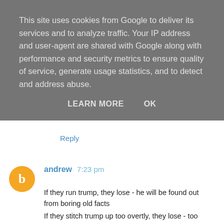This site uses cookies from Google to deliver its services and to analyze traffic. Your IP address and user-agent are shared with Google along with performance and security metrics to ensure quality of service, generate usage statistics, and to detect and address abuse.
LEARN MORE   OK
Reply
andrew 7:23 pm
If they run trump, they lose - he will be found out from boring old facts
If they stitch trump up too overtly, they lose - too undemocratic
If they run anyone from the current list, they lose - they lost to trump

Nice article
http://nymag.com/daily/intelligencer/2016/03/why-is-trump...